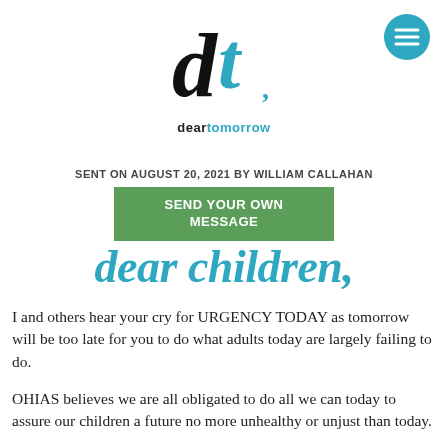[Figure (logo): Dear Tomorrow logo: stylized 'd' and 't' letters in black and teal, with text 'deartomorrow' below]
[Figure (other): Teal circular hamburger menu button in top right corner]
SENT ON AUGUST 20, 2021 BY WILLIAM CALLAHAN
SEND YOUR OWN MESSAGE
dear children,
I and others hear your cry for URGENCY TODAY as tomorrow will be too late for you to do what adults today are largely failing to do.
OHIAS believes we are all obligated to do all we can today to assure our children a future no more unhealthy or unjust than today.